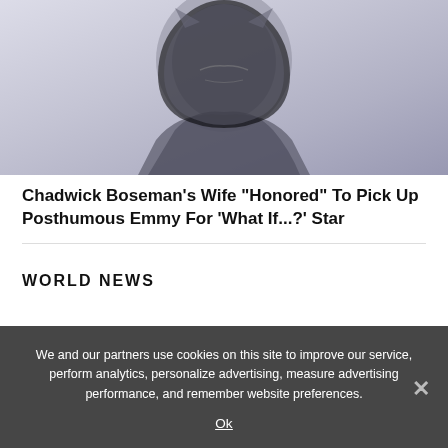[Figure (photo): A dark armored superhero helmet/costume, resembling Black Panther, with a blueish-grey blurred background.]
Chadwick Boseman's Wife “Honored” To Pick Up Posthumous Emmy For ‘What If...?” Star
WORLD NEWS
We and our partners use cookies on this site to improve our service, perform analytics, personalize advertising, measure advertising performance, and remember website preferences.
Ok